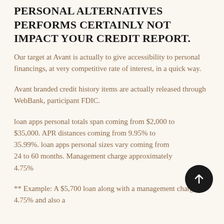PERSONAL ALTERNATIVES PERFORMS CERTAINLY NOT IMPACT YOUR CREDIT REPORT.
Our target at Avant is actually to give accessibility to personal financings, at very competitive rate of interest, in a quick way.
Avant branded credit history items are actually released through WebBank, participant FDIC.
loan apps personal totals span coming from $2,000 to $35,000. APR distances coming from 9.95% to 35.99%. loan apps personal sizes vary coming from 24 to 60 months. Management charge approximately 4.75%
** Example: A $5,700 loan along with a management charge of 4.75% and also a